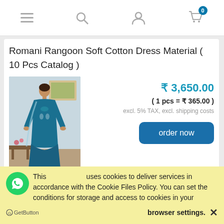Navigation bar with menu, search, user, and cart icons (cart shows 0 items)
Romani Rangoon Soft Cotton Dress Material ( 10 Pcs Catalog )
[Figure (photo): Woman wearing a teal/blue embroidered salwar kameez suit standing in a room with wooden furniture and flowers]
₹ 3,650.00
( 1 pcs = ₹ 365.00 )
excl. 5% TAX, excl. shipping costs
order now
This uses cookies to deliver services in accordance with the Cookie Files Policy. You can set the conditions for storage and access to cookies in your browser settings.  ✕